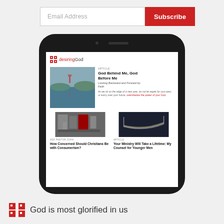[Figure (screenshot): Email address input field with red Subscribe button]
[Figure (screenshot): Smartphone mockup showing desiringGod website with articles: 'God Behind Me, God Before Me', 'How Concerned Should Christians Be with Consumerism?', 'Your Ministry Will Take a Lifetime: My Counsel for Younger Men']
God is most glorified in us